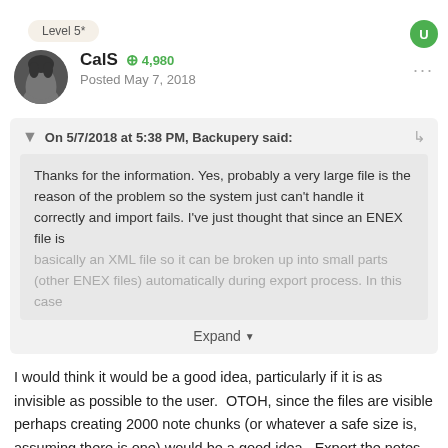Level 5*
CalS  +4,980
Posted May 7, 2018
On 5/7/2018 at 5:38 PM, Backupery said:
Thanks for the information. Yes, probably a very large file is the reason of the problem so the system just can't handle it correctly and import fails. I've just thought that since an ENEX file is basically an XML file so it can be broken up into small parts (other ENEX files) automatically during export process. In this case
Expand
I would think it would be a good idea, particularly if it is as invisible as possible to the user.  OTOH, since the files are visible perhaps creating 2000 note chunks (or whatever a safe size is, assuming there is one) would be a good idea.  Export the notes by date range so it would be